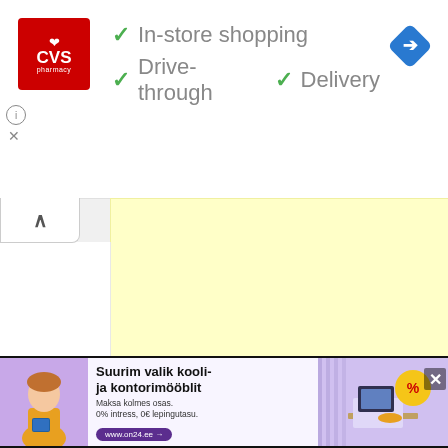[Figure (screenshot): CVS Pharmacy ad banner with logo, checkmarks for In-store shopping, Drive-through, and Delivery, plus a navigation arrow icon]
In-store shopping
Drive-through  ✓  Delivery
[Figure (screenshot): Yellow advertisement content area with collapse button]
[Figure (screenshot): Estonian language bottom advertisement: Suurim valik kooli- ja kontorimööblit. Maksa kolmes osas. 0% intress, 0€ lepingutasu. www.on24.ee]
Suurim valik kooli- ja kontorimööblit
Maksa kolmes osas. 0% intress, 0€ lepingutasu.
www.on24.ee →